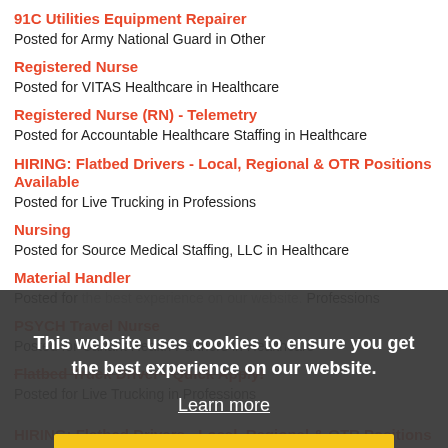91C Utilities Equipment Repairer
Posted for Army National Guard in Other
Registered Nurse
Posted for VITAS Healthcare in Healthcare
Registered Nurse (RN) - Telemetry
Posted for Accountable Healthcare Staffing in Healthcare
HIRING: Flatbed Drivers - Local, Regional & OTR Positions Available
Posted for Live Trucking in Professions
Nursing
Posted for Source Medical Staffing, LLC in Healthcare
Material Handler
Posted for [obscured] in Professions
PSYCH Travel Nurse
Posted for Cariant Health Partners in Healthcare
Flatbed Truck Driver - Quick Apply!
Posted for Live Trucking in Professions
This website uses cookies to ensure you get the best experience on our website.
Learn more
Got it!
HIRING: Flatbed Drivers - Local, Regional & OTR Positions